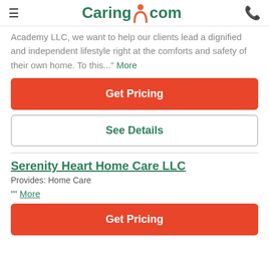Caring.com
Academy LLC, we want to help our clients lead a dignified and independent lifestyle right at the comforts and safety of their own home. To this..." More
Get Pricing
See Details
Serenity Heart Home Care LLC
Provides: Home Care
"" More
Get Pricing